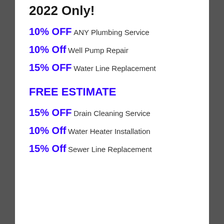2022 Only!
10% OFF ANY Plumbing Service
10% Off Well Pump Repair
15% OFF Water Line Replacement
FREE ESTIMATE
15% OFF Drain Cleaning Service
10% Off Water Heater Installation
15% Off Sewer Line Replacement